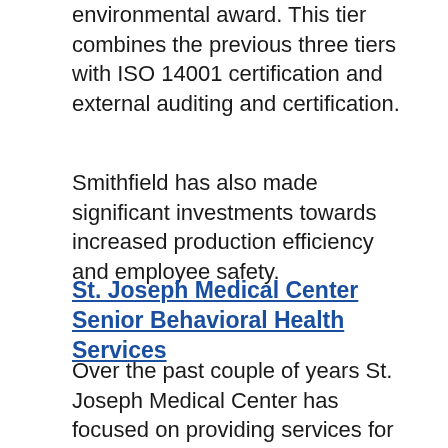environmental award. This tier combines the previous three tiers with ISO 14001 certification and external auditing and certification.
Smithfield has also made significant investments towards increased production efficiency and employee safety.
St. Joseph Medical Center Senior Behavioral Health Services
Over the past couple of years St. Joseph Medical Center has focused on providing services for seniors in our community.  Their most recent effort, Senior Behavioral Health, meets a dire community need and